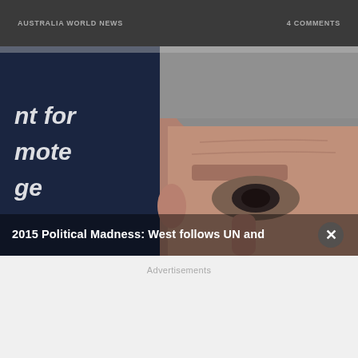AUSTRALIA  WORLD NEWS    4 COMMENTS
[Figure (photo): Close-up photo of a grey-haired man at a podium or press conference, with a dark blue banner showing partial text 'nt for', 'mote', 'ge'. Overlaid caption reads '2015 Political Madness: West follows UN and']
2015 Political Madness: West follows UN and
Advertisements
PRINT THIS AD